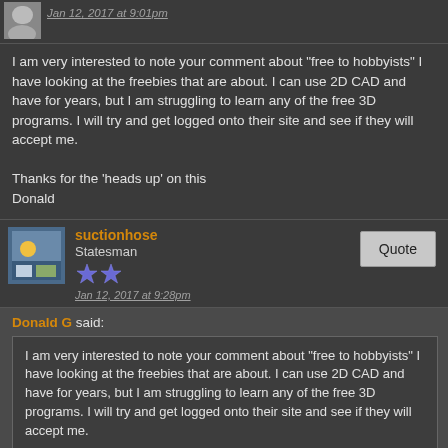Jan 12, 2017 at 9:01pm
I am very interested to note your comment about "free to hobbyists" I have looking at the freebies that are about. I can use 2D CAD and have for years, but I am struggling to learn any of the free 3D programs. I will try and get logged onto their site and see if they will accept me.

Thanks for the 'heads up' on this
Donald
suctionhose
Statesman
Jan 12, 2017 at 9:28pm
Donald G said:
I am very interested to note your comment about "free to hobbyists" I have looking at the freebies that are about. I can use 2D CAD and have for years, but I am struggling to learn any of the free 3D programs. I will try and get logged onto their site and see if they will accept me.

Thanks for the 'heads up' on this